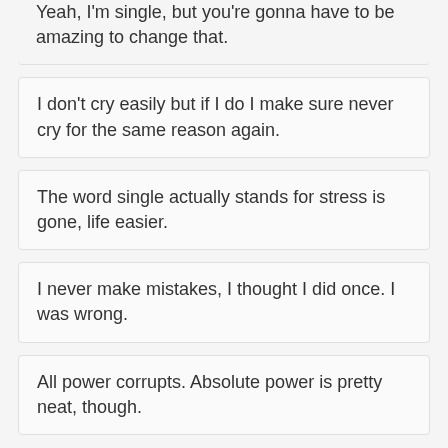Yeah, I'm single, but you're gonna have to be amazing to change that.
I don't cry easily but if I do I make sure never cry for the same reason again.
The word single actually stands for stress is gone, life easier.
I never make mistakes, I thought I did once. I was wrong.
All power corrupts. Absolute power is pretty neat, though.